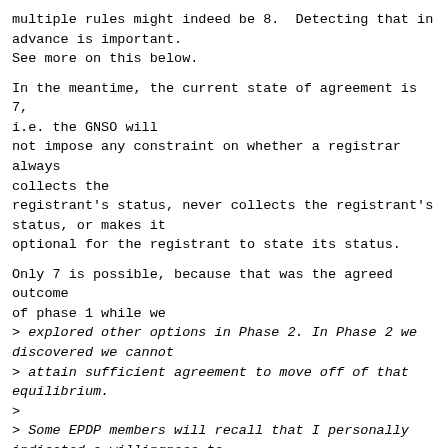multiple rules might indeed be 8.  Detecting that in
advance is important.
See more on this below.
In the meantime, the current state of agreement is 7,
i.e. the GNSO will
not impose any constraint on whether a registrar always
collects the
registrant's status, never collects the registrant's
status, or makes it
optional for the registrant to state its status.
Only 7 is possible, because that was the agreed outcome
of phase 1 while we
> explored other options in Phase 2. In Phase 2 we
discovered we cannot
> attain sufficient agreement to move off of that
equilibrium.
>
> Some EPDP members will recall that I personally
indicated a willingness to
> move toward something like #6. This did not fly.
Neither the Contracted
> Parties nor my own SG would accept it, and the GAC,
ALAC and two CSG
> constituencies still wanted something more like 1 or
2.
>
"Something like #6," eh?  Well, 6 is: